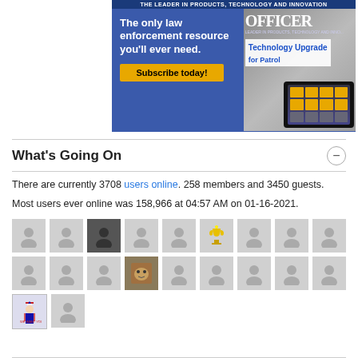[Figure (illustration): Advertisement for Officer magazine: 'The only law enforcement resource you'll ever need. Subscribe today!' with blue background and image of tablet showing Technology Upgrade for Patrol]
What's Going On
There are currently 3708 users online. 258 members and 3450 guests.
Most users ever online was 158,966 at 04:57 AM on 01-16-2021.
[Figure (illustration): Grid of 20 user avatar thumbnails, most showing default grey silhouette icons, a few with custom images (trophy figure, sloth, Uncle Sam)]